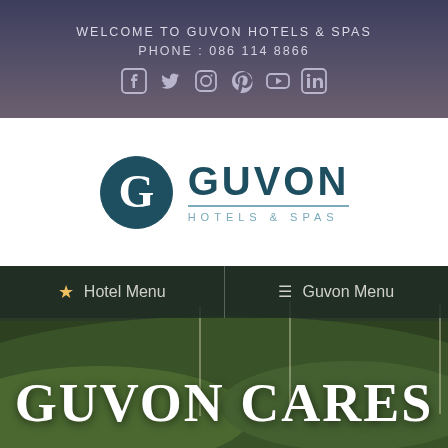WELCOME TO GUVON HOTELS & SPAS
PHONE : 086 114 8866
[Figure (logo): Guvon Hotels & Spas logo with circular G emblem and text]
[Figure (photo): Aerial/wide photo of golf course green grass with navigation bar overlay showing Hotel Menu and Guvon Menu, and large text GUVON CARES]